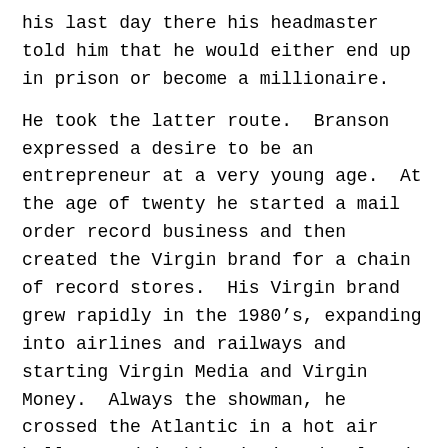his last day there his headmaster told him that he would either end up in prison or become a millionaire.
He took the latter route.  Branson expressed a desire to be an entrepreneur at a very young age.  At the age of twenty he started a mail order record business and then created the Virgin brand for a chain of record stores.  His Virgin brand grew rapidly in the 1980’s, expanding into airlines and railways and starting Virgin Media and Virgin Money.  Always the showman, he crossed the Atlantic in a hot air balloon and in his sixties developed Virgin Galactic to promote space travel.
.
Early Days
The forebears of this Branson family were Henry Branson and Elizabeth Wilkins, who had...